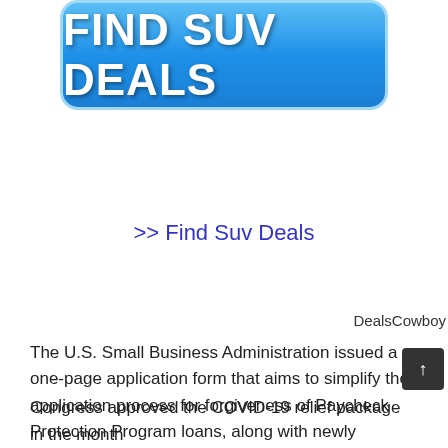[Figure (other): Blue rounded button with text FIND SUV DEALS in large white bold letters]
>> Find Suv Deals
DealsCowboy
The U.S. Small Business Administration issued a one-page application form that aims to simplify the application process for forgiveness of Paycheck Protection Program loans, along with newly updated and revised forms that comply with the latest stimulus legislation.
Congress approved the COVID-19 relief package in the month